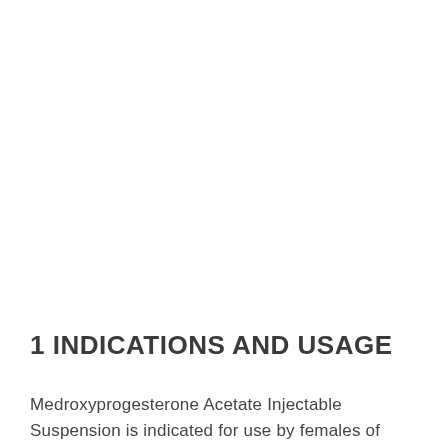1 INDICATIONS AND USAGE
Medroxyprogesterone Acetate Injectable Suspension is indicated for use by females of